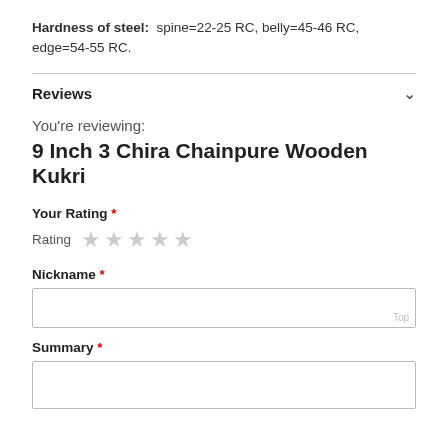Hardness of steel: spine=22-25 RC, belly=45-46 RC, edge=54-55 RC.
Reviews
You're reviewing:
9 Inch 3 Chira Chainpure Wooden Kukri
Your Rating *
Rating ★★★★★
Nickname *
Summary *